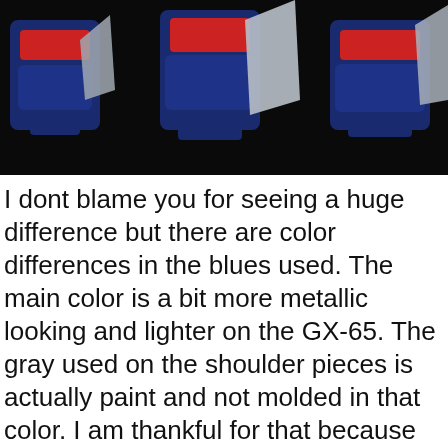[Figure (photo): Photo of Gundam robot figure upper body showing blue, red, and silver/gray shoulder pieces against a dark background. Three figures or angles visible.]
I dont blame you for seeing a huge difference but there are color differences in the blues used. The main color is a bit more metallic looking and lighter on the GX-65. The gray used on the shoulder pieces is actually paint and not molded in that color. I am thankful for that because molding it in color would have made it look cheap.
[Figure (photo): Photo of Gundam robot figure lower body/legs showing blue metallic and white/silver parts against a dark background.]